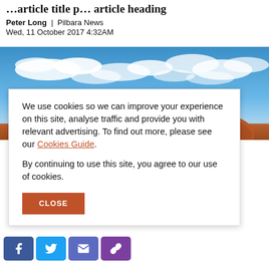…article title (partially visible at top)…
Peter Long | Pilbara News
Wed, 11 October 2017 4:32AM
[Figure (photo): Outdoor photograph showing a bright blue sky with scattered white clouds and the top of a red-brown rock formation (likely Uluru) at the bottom.]
We use cookies so we can improve your experience on this site, analyse traffic and provide you with relevant advertising. To find out more, please see our Cookies Guide.

By continuing to use this site, you agree to our use of cookies.
CLOSE